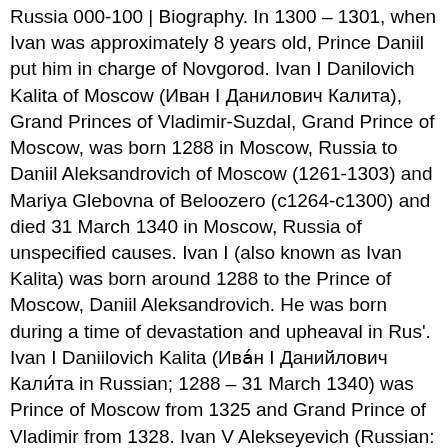Russia 000-100 | Biography. In 1300 – 1301, when Ivan was approximately 8 years old, Prince Daniil put him in charge of Novgorod. Ivan I Danilovich Kalita of Moscow (Иван I Данилович Калита), Grand Princes of Vladimir-Suzdal, Grand Prince of Moscow, was born 1288 in Moscow, Russia to Daniil Aleksandrovich of Moscow (1261-1303) and Mariya Glebovna of Beloozero (c1264-c1300) and died 31 March 1340 in Moscow, Russia of unspecified causes. Ivan I (also known as Ivan Kalita) was born around 1288 to the Prince of Moscow, Daniil Aleksandrovich. He was born during a time of devastation and upheaval in Rus'. Ivan I Daniilovich Kalita (Ива́н I Данийлович Кали́та in Russian; 1288 – 31 March 1340) was Prince of Moscow from 1325 and Grand Prince of Vladimir from 1328. Ivan V Alekseyevich (Russian: Иван V Алексеевич, 6 September [O.S. Born in 1288 to Grand Prince Daniel of Moscow making him the grandson of Alexander Nevsky, Ivan I was a very shrewd man who would bring great wealth to his people. Ivan was the son of Prince of Moscow Daniil Aleksandrovich. Ivan was the son of Prince of Moscow Daniil Aleksandrovich. Ivan was the son of Prince of Moscow Daniil Aleksandrovich.